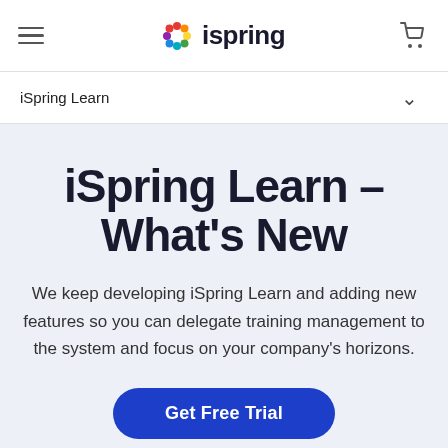ispring (logo with hamburger menu and cart)
iSpring Learn ∨
iSpring Learn – What's New
We keep developing iSpring Learn and adding new features so you can delegate training management to the system and focus on your company's horizons.
Get Free Trial